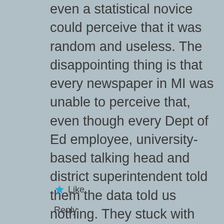even a statistical novice could perceive that it was random and useless. The disappointing thing is that every newspaper in MI was unable to perceive that, even though every Dept of Ed employee, university-based talking head and district superintendent told them the data told us nothing. They stuck with '8th grade Social Studies down 2.1 points! Crisis!'
Like
Reply